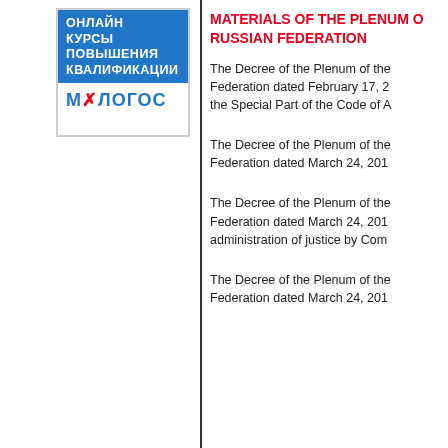[Figure (logo): Mylogos online courses logo with Russian text ОНЛАЙН КУРСЫ ПОВЫШЕНИЯ КВАЛИФИКАЦИИ and brand name МОЛОГОС]
MATERIALS OF THE PLENUM OF THE RUSSIAN FEDERATION
The Decree of the Plenum of the Russian Federation dated February 17, 2... the Special Part of the Code of A...
The Decree of the Plenum of the Russian Federation dated March 24, 201...
The Decree of the Plenum of the Russian Federation dated March 24, 201... administration of justice by Com...
The Decree of the Plenum of the Russian Federation dated March 24, 201...